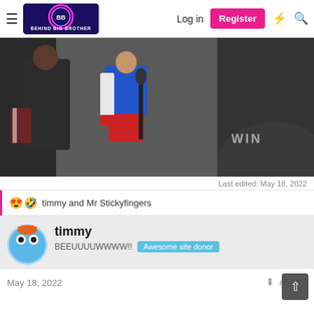Behind Big Brother — Log in | Register
[Figure (photo): A scene with people, one wearing a blue tank top and red shorts holding a microphone, with text WIN visible in the lower right area.]
Last edited: May 18, 2022
😍🤣 timmy and Mr Stickyfingers
timmy
BEEUUUUWWWW!! Awesome site donor
May 18, 2022
#2,144